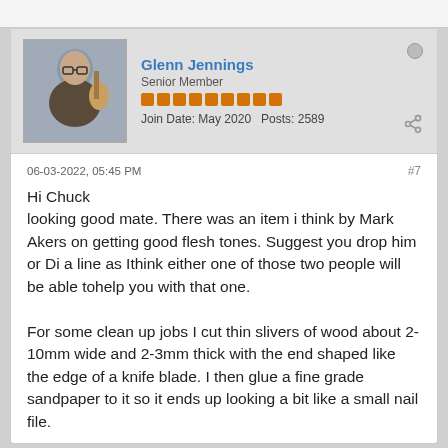Glenn Jennings
Senior Member
Join Date: May 2020   Posts: 2589
06-03-2022, 05:45 PM
#7
Hi Chuck
looking good mate. There was an item i think by Mark Akers on getting good flesh tones. Suggest you drop him or Di a line as Ithink either one of those two people will be able tohelp you with that one.

For some clean up jobs I cut thin slivers of wood about 2-10mm wide and 2-3mm thick with the end shaped like the edge of a knife blade. I then glue a fine grade sandpaper to it so it ends up looking a bit like a small nail file.